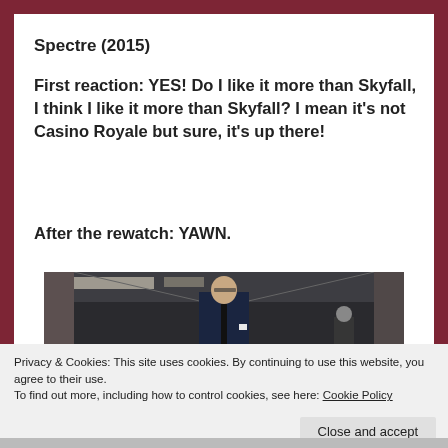Spectre (2015)
First reaction: YES! Do I like it more than Skyfall, I think I like it more than Skyfall? I mean it's not Casino Royale but sure, it's up there!
After the rewatch: YAWN.
[Figure (photo): A man in a dark suit standing in a sleek modern corridor, scene from Spectre (2015)]
Privacy & Cookies: This site uses cookies. By continuing to use this website, you agree to their use.
To find out more, including how to control cookies, see here: Cookie Policy